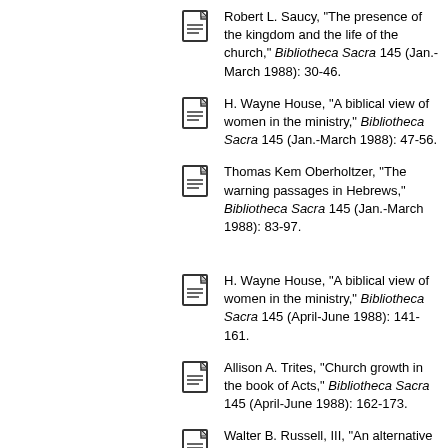Robert L. Saucy, "The presence of the kingdom and the life of the church," Bibliotheca Sacra 145 (Jan.-March 1988): 30-46.
H. Wayne House, "A biblical view of women in the ministry," Bibliotheca Sacra 145 (Jan.-March 1988): 47-56.
Thomas Kem Oberholtzer, "The warning passages in Hebrews," Bibliotheca Sacra 145 (Jan.-March 1988): 83-97.
H. Wayne House, "A biblical view of women in the ministry," Bibliotheca Sacra 145 (April-June 1988): 141-161.
Allison A. Trites, "Church growth in the book of Acts," Bibliotheca Sacra 145 (April-June 1988): 162-173.
Walter B. Russell, III, "An alternative suggestion for the...